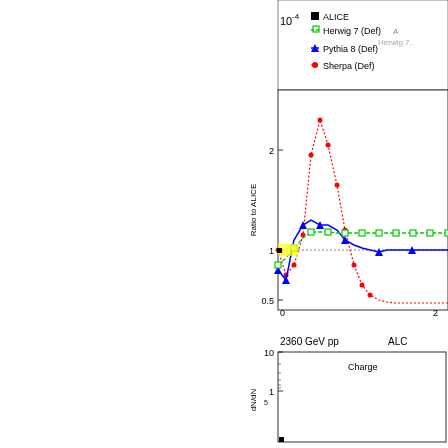[Figure (continuous-plot): Top-right portion of a ratio plot (Ratio to ALICE) showing Monte Carlo generator comparisons: ALICE data (black filled squares), Herwig 7 Def (green dashed open squares), Pythia 8 Def (blue solid triangles), Sherpa Def (red dotted circles). Legend visible. Y-axis shows Ratio to ALICE with values 0.5, 1, 2. X-axis starts at 0. Sherpa shows a large peak near 1 reaching ~2.3.]
[Figure (continuous-plot): Bottom-right portion of a new plot panel. Label: 2360 GeV pp, ALICE (partially visible). Y-axis labeled dN/dN_5 with values 10, 1 visible on log scale. Text 'Charge' partially visible. A black filled square data point near the bottom.]